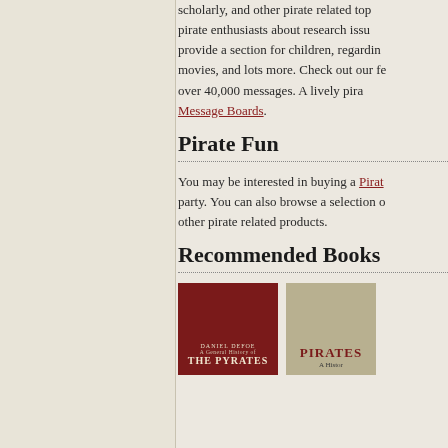scholarly, and other pirate related topics, pirate enthusiasts about research issues, provide a section for children, regarding movies, and lots more. Check out our features over 40,000 messages. A lively pirate Message Boards.
Pirate Fun
You may be interested in buying a Pirate party. You can also browse a selection of other pirate related products.
Recommended Books
[Figure (photo): Book cover: Daniel Defoe A General History of The Pyrates]
[Figure (photo): Book cover: Pirates A History]